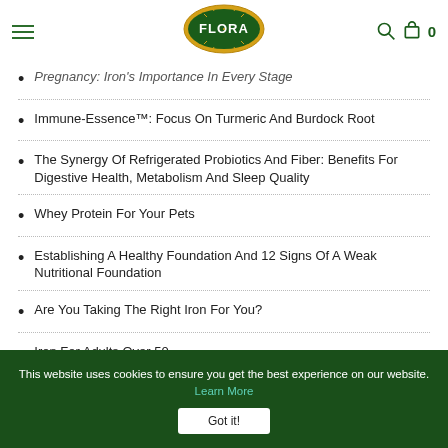Flora [logo] 0
Pregnancy: Iron's Importance In Every Stage
Immune-Essence™: Focus On Turmeric And Burdock Root
The Synergy Of Refrigerated Probiotics And Fiber: Benefits For Digestive Health, Metabolism And Sleep Quality
Whey Protein For Your Pets
Establishing A Healthy Foundation And 12 Signs Of A Weak Nutritional Foundation
Are You Taking The Right Iron For You?
Iron For Adults Over 50
This website uses cookies to ensure you get the best experience on our website. Learn More
Got it!